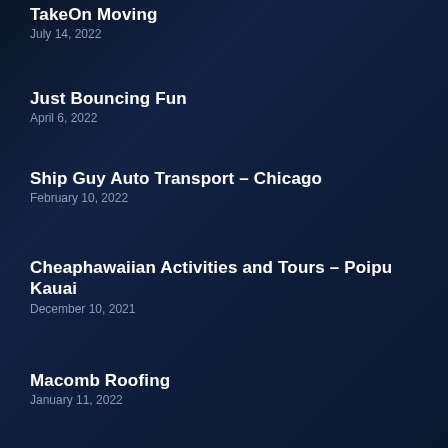TakeOn Moving
July 14, 2022
Just Bouncing Fun
April 6, 2022
Ship Guy Auto Transport – Chicago
February 10, 2022
Cheaphawaiian Activities and Tours – Poipu Kauai
December 10, 2021
Macomb Roofing
January 11, 2022